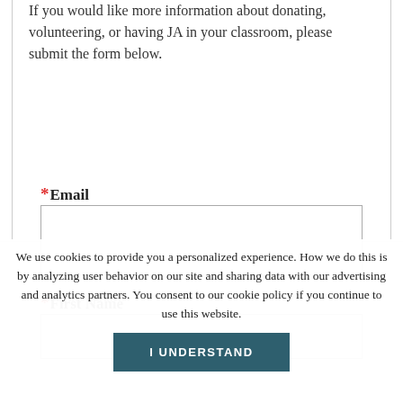If you would like more information about donating, volunteering, or having JA in your classroom, please submit the form below.
*Email
*First Name
We use cookies to provide you a personalized experience. How we do this is by analyzing user behavior on our site and sharing data with our advertising and analytics partners. You consent to our cookie policy if you continue to use this website.
I UNDERSTAND